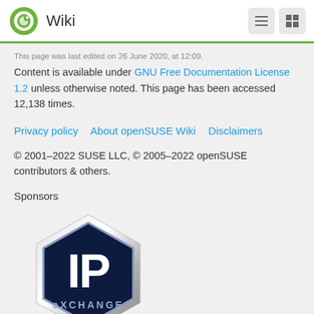openSUSE Wiki
This page was last edited on 26 June 2020, at 12:09. Content is available under GNU Free Documentation License 1.2 unless otherwise noted. This page has been accessed 12,138 times.
Privacy policy   About openSUSE Wiki   Disclaimers
© 2001–2022 SUSE LLC, © 2005–2022 openSUSE contributors & others.
Sponsors
[Figure (logo): IP eXchange hexagonal badge logo — dark navy hexagon with chrome border, 'IP' text in large white letters and 'eXchange' in small letters below]